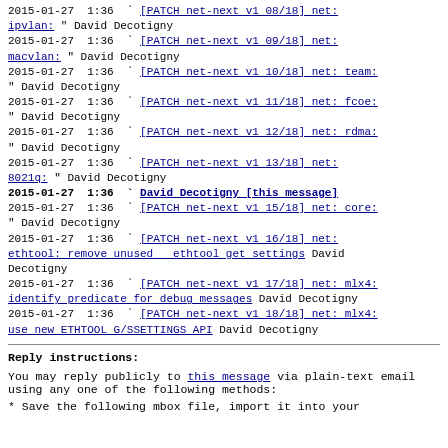2015-01-27  1:36  ` [PATCH net-next v1 08/18] net: ipvlan: " David Decotigny
2015-01-27  1:36  ` [PATCH net-next v1 09/18] net: macvlan: " David Decotigny
2015-01-27  1:36  ` [PATCH net-next v1 10/18] net: team: " David Decotigny
2015-01-27  1:36  ` [PATCH net-next v1 11/18] net: fcoe: " David Decotigny
2015-01-27  1:36  ` [PATCH net-next v1 12/18] net: rdma: " David Decotigny
2015-01-27  1:36  ` [PATCH net-next v1 13/18] net: 8021q: " David Decotigny
2015-01-27  1:36  ` David Decotigny [this message]
2015-01-27  1:36  ` [PATCH net-next v1 15/18] net: core: " David Decotigny
2015-01-27  1:36  ` [PATCH net-next v1 16/18] net: ethtool: remove unused   ethtool get settings David Decotigny
2015-01-27  1:36  ` [PATCH net-next v1 17/18] net: mlx4: identify predicate for debug messages David Decotigny
2015-01-27  1:36  ` [PATCH net-next v1 18/18] net: mlx4: use new ETHTOOL G/SSETTINGS API David Decotigny
Reply instructions:
You may reply publicly to this message via plain-text email
using any one of the following methods:
* Save the following mbox file, import it into your